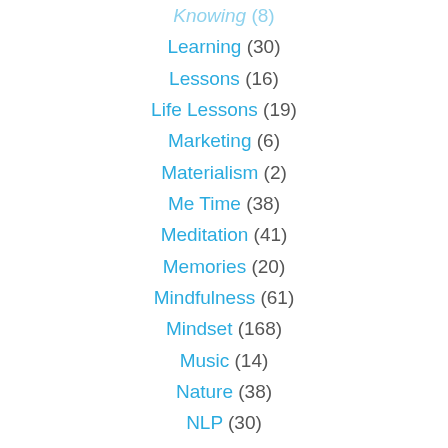Knowing (8)
Learning (30)
Lessons (16)
Life Lessons (19)
Marketing (6)
Materialism (2)
Me Time (38)
Meditation (41)
Memories (20)
Mindfulness (61)
Mindset (168)
Music (14)
Nature (38)
NLP (30)
Passion (18)
Patience (19)
Peace (29)